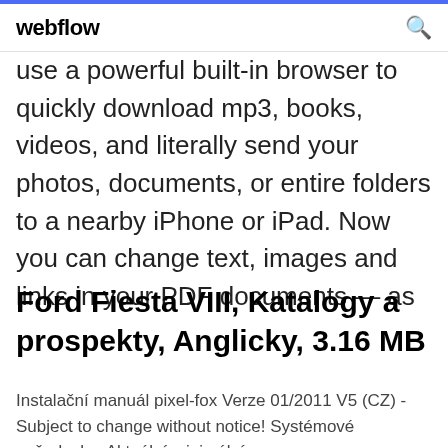webflow
use a powerful built-in browser to quickly download mp3, books, videos, and literally send your photos, documents, or entire folders to a nearby iPhone or iPad. Now you can change text, images and links in your PDF documents — as
Ford Fiesta VIII, Katalogy a prospekty, Anglicky, 3.16 MB
Instalační manuál pixel-fox Verze 01/2011 V5 (CZ) - Subject to change without notice! Systémové požadavky: Aktuální minimální